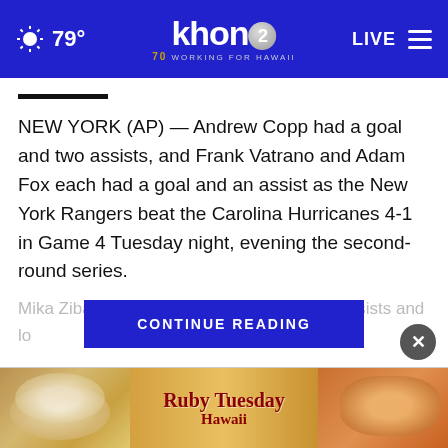79° khon2 WORKING FOR HAWAII LIVE
NEW YORK (AP) — Andrew Copp had a goal and two assists, and Frank Vatrano and Adam Fox each had a goal and an assist as the New York Rangers beat the Carolina Hurricanes 4-1 in Game 4 Tuesday night, evening the second-round series.
Mika Zibanejad ... en had two assists and lo ... hato for the
[Figure (other): Ruby Tuesday Hawaii advertisement banner with food images]
CONTINUE READING